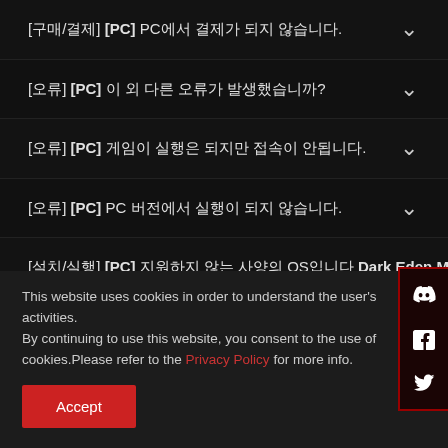[구매/결제] [PC] PC에서 결제가 되지 않습니다.
[오류] [PC] 이 외 다른 오류가 발생했습니다.
[오류] [PC] 게임이 실행은 되지만 접속이 안됩니다.
[오류] [PC] PC 버전에서 실행이 되지 않습니다.
[설치/실행] [PC] 지원하지 않는 사양의 OS입니다 Dark Eden M on WEMIX PC버전을 실행할 수 없습니다.
This website uses cookies in order to understand the user's activities.
By continuing to use this website, you consent to the use of cookies.Please refer to the Privacy Policy for more info.